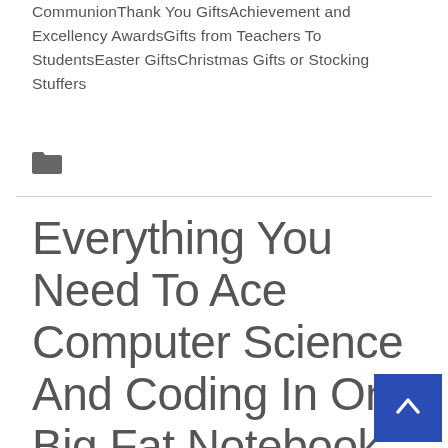CommunionThank You GiftsAchievement and Excellency AwardsGifts from Teachers To StudentsEaster GiftsChristmas Gifts or Stocking Stuffers
[Figure (other): Folder icon (category icon)]
Everything You Need To Ace Computer Science And Coding In One Big Fat Notebook